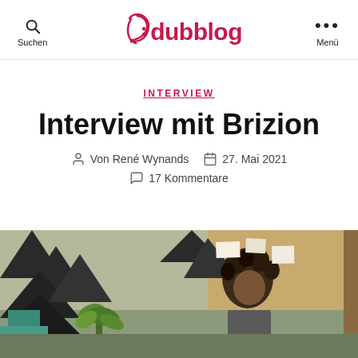Suchen | dubblog | Menü
INTERVIEW
Interview mit Brizion
Von René Wynands   27. Mai 2021   17 Kommentare
[Figure (photo): Photo of Brizion in a room with acoustic foam panels and a plant]